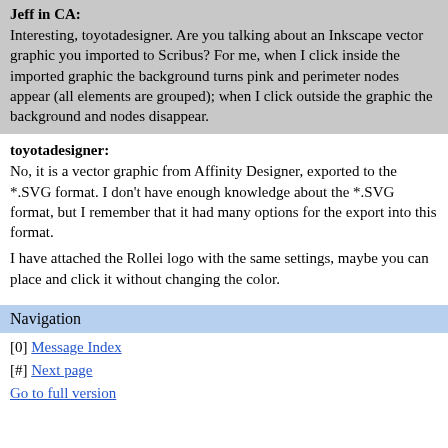Jeff in CA: Interesting, toyotadesigner. Are you talking about an Inkscape vector graphic you imported to Scribus? For me, when I click inside the imported graphic the background turns pink and perimeter nodes appear (all elements are grouped); when I click outside the graphic the background and nodes disappear.
toyotadesigner: No, it is a vector graphic from Affinity Designer, exported to the *.SVG format. I don't have enough knowledge about the *.SVG format, but I remember that it had many options for the export into this format.

I have attached the Rollei logo with the same settings, maybe you can place and click it without changing the color.
Navigation
[0] Message Index
[#] Next page
Go to full version